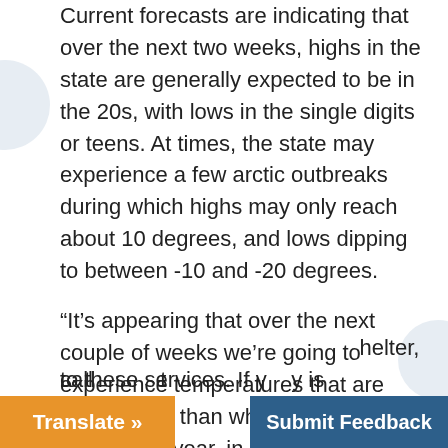Current forecasts are indicating that over the next two weeks, highs in the state are generally expected to be in the 20s, with lows in the single digits or teens. At times, the state may experience a few arctic outbreaks during which highs may only reach about 10 degrees, and lows dipping to between -10 and -20 degrees.
“It’s appearing that over the next couple of weeks we’re going to experience temperatures that are even colder than what is normal for this time of year, in addition to the potential for multiple winter storms,” Governor Lamont said. “This long-duration severe cold weather can be life threatening if someone is outdoors for extended periods of time. Shelters are open across the state, and I urge anyone in need to get connected to these services. If yo…y is …helter, call…t